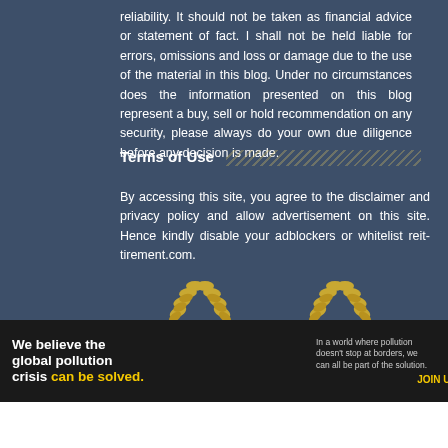reliability. It should not be taken as financial advice or statement of fact. I shall not be held liable for errors, omissions and loss or damage due to the use of the material in this blog. Under no circumstances does the information presented on this blog represent a buy, sell or hold recommendation on any security, please always do your own due diligence before any decision is made.
Terms of Use
By accessing this site, you agree to the disclaimer and privacy policy and allow advertisement on this site. Hence kindly disable your adblockers or whitelist reit-tirement.com.
[Figure (illustration): Two golden laurel wreaths/branches decorative icons at the bottom of the dark blue section]
[Figure (infographic): Advertisement banner: 'We believe the global pollution crisis can be solved.' with Pure Earth logo. Dark background on left, white on right with orange/green diamond logo.]